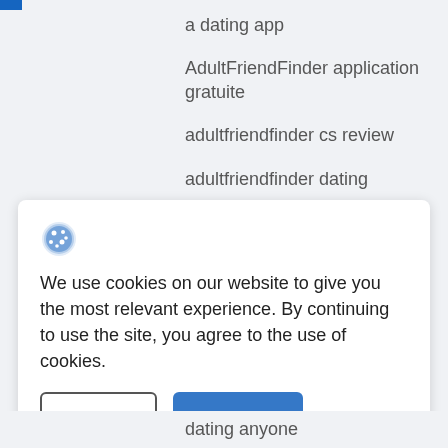a dating app
AdultFriendFinder application gratuite
adultfriendfinder cs review
adultfriendfinder dating
We use cookies on our website to give you the most relevant experience. By continuing to use the site, you agree to the use of cookies.
dating anyone